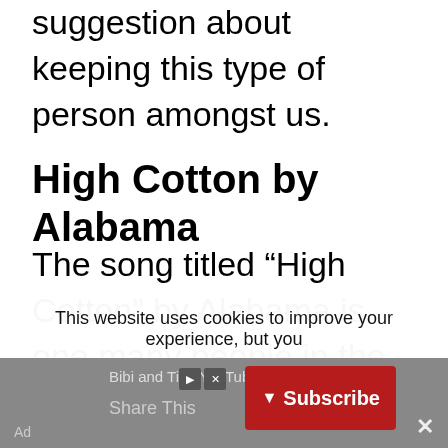suggestion about keeping this type of person amongst us.
High Cotton by Alabama
The song titled “High Cotton” by Alabama is one many people in the younger generations may not know, but it is also one that should not be left off of the list of songs about farming life.
This website uses cookies to improve your experience, but you
Bibi and Tina YouTube Channel
Share This
Subscribe
Ad